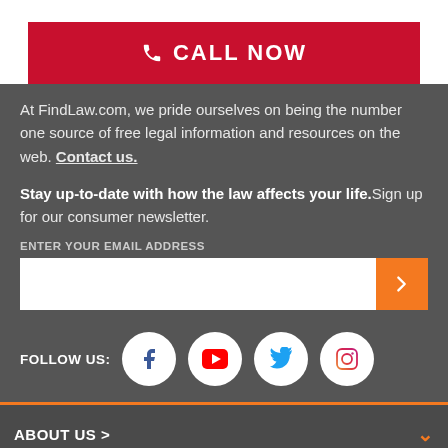[Figure (other): Red CALL NOW button with phone icon]
At FindLaw.com, we pride ourselves on being the number one source of free legal information and resources on the web. Contact us.
Stay up-to-date with how the law affects your life. Sign up for our consumer newsletter.
ENTER YOUR EMAIL ADDRESS
[Figure (other): Email input field with orange submit button]
FOLLOW US:
[Figure (other): Social media icons: Facebook, YouTube, Twitter, Instagram]
ABOUT US >